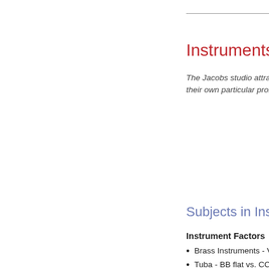Instruments
The Jacobs studio attract... their own particular proble...
Subjects in Instrum...
Instrument Factors
Brass Instruments - Variab...
Tuba - BB flat vs. CC; (un...
Trombone - Bass Trombo...